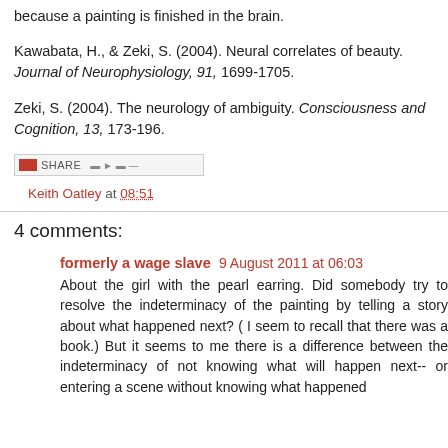because a painting is finished in the brain.
Kawabata, H., & Zeki, S. (2004). Neural correlates of beauty. Journal of Neurophysiology, 91, 1699-1705.
Zeki, S. (2004). The neurology of ambiguity. Consciousness and Cognition, 13, 173-196.
[Figure (screenshot): Social share bar with icons]
Keith Oatley at 08:51
4 comments:
formerly a wage slave  9 August 2011 at 06:03
About the girl with the pearl earring. Did somebody try to resolve the indeterminacy of the painting by telling a story about what happened next? ( I seem to recall that there was a book.) But it seems to me there is a difference between the indeterminacy of not knowing what will happen next-- or entering a scene without knowing what happened